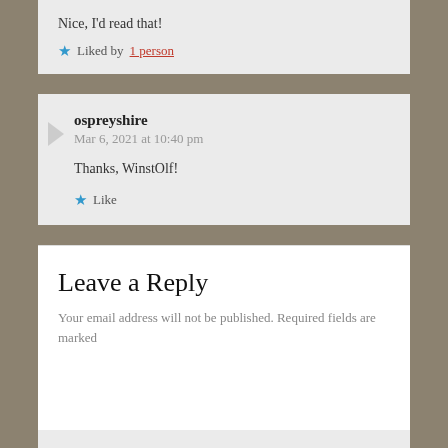Nice, I'd read that!
★ Liked by 1 person
ospreyshire
Mar 6, 2021 at 10:40 pm
Thanks, WinstOlf!
★ Like
Leave a Reply
Your email address will not be published. Required fields are marked